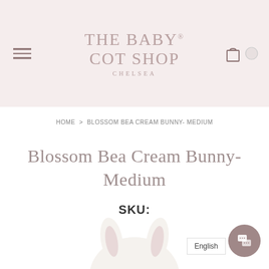[Figure (logo): The Baby Cot Shop Chelsea logo in muted rose/taupe tones on a blush pink header background]
HOME > BLOSSOM BEA CREAM BUNNY- MEDIUM
Blossom Bea Cream Bunny- Medium
SKU:
[Figure (photo): Partial bottom view of a cream plush bunny toy]